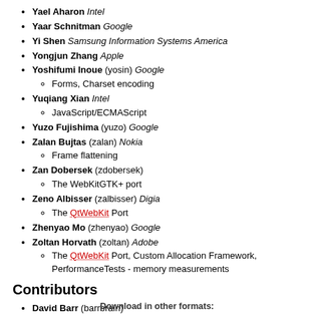Yael Aharon Intel
Yaar Schnitman Google
Yi Shen Samsung Information Systems America
Yongjun Zhang Apple
Yoshifumi Inoue (yosin) Google
Forms, Charset encoding
Yuqiang Xian Intel
JavaScript/ECMAScript
Yuzo Fujishima (yuzo) Google
Zalan Bujtas (zalan) Nokia
Frame flattening
Zan Dobersek (zdobersek)
The WebKitGTK+ port
Zeno Albisser (zalbisser) Digia
The QtWebKit Port
Zhenyao Mo (zhenyao) Google
Zoltan Horvath (zoltan) Adobe
The QtWebKit Port, Custom Allocation Framework, PerformanceTests - memory measurements
Contributors
David Barr (barrbrain)
Rik Cabanier (cabanier) Adobe
Elliott Sprehn (esprehn) Google
Layout and Rendering, V8/JSC Bindings, Generated content, Web Compatibility (General)
Download in other formats: